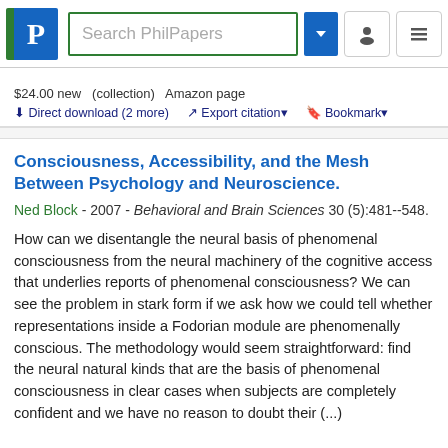Search PhilPapers
$24.00 new  (collection)  Amazon page
Direct download (2 more)   Export citation   Bookmark
Consciousness, Accessibility, and the Mesh Between Psychology and Neuroscience.
Ned Block - 2007 - Behavioral and Brain Sciences 30 (5):481--548.
How can we disentangle the neural basis of phenomenal consciousness from the neural machinery of the cognitive access that underlies reports of phenomenal consciousness? We can see the problem in stark form if we ask how we could tell whether representations inside a Fodorian module are phenomenally conscious. The methodology would seem straightforward: find the neural natural kinds that are the basis of phenomenal consciousness in clear cases when subjects are completely confident and we have no reason to doubt their (...)